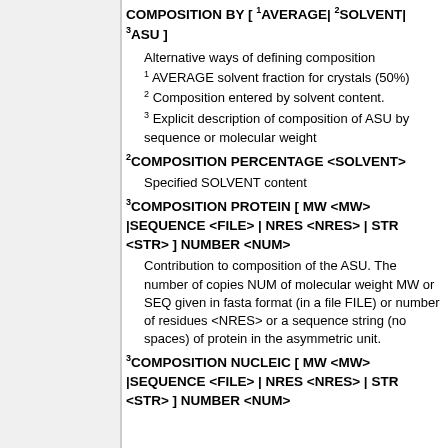COMPOSITION BY [ 1AVERAGE| 2SOLVENT| 3ASU ]
Alternative ways of defining composition
1 AVERAGE solvent fraction for crystals (50%)
2 Composition entered by solvent content.
3 Explicit description of composition of ASU by sequence or molecular weight
2COMPOSITION PERCENTAGE <SOLVENT>
Specified SOLVENT content
3COMPOSITION PROTEIN [ MW <MW> |SEQUENCE <FILE> | NRES <NRES> | STR <STR> ] NUMBER <NUM>
Contribution to composition of the ASU. The number of copies NUM of molecular weight MW or SEQ given in fasta format (in a file FILE) or number of residues <NRES> or a sequence string (no spaces) of protein in the asymmetric unit.
3COMPOSITION NUCLEIC [ MW <MW> |SEQUENCE <FILE> | NRES <NRES> | STR <STR> ] NUMBER <NUM>